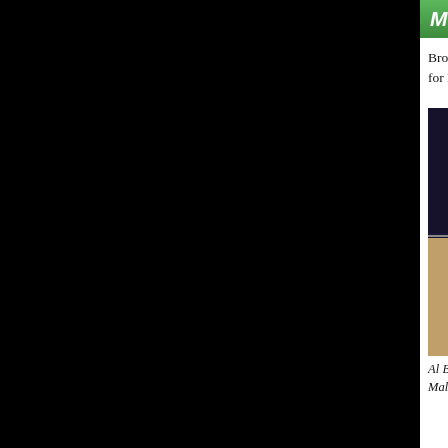Malignaggi one
Brooklyn's own Paulie Malignaggi got knock decision win that many in his hometown crow Two judges had it 114-113 for Malignaggi and
[Figure (photo): Two boxers in a fight. Left boxer wears TELMEX shorts and red gloves, right boxer wears red gloves. Arena setting with crowd in background.]
Al Bello/Getty ImagesPablo Cesar Cano Paulie Malignaggi a battle and arguably lande harder shots in a split decision that we Malignaggi, the hometown fighter.
Malignaggi retained his welterweight title, but weight. And because of a WBA rule -- one tha -- Malignaggi couldn't lose it even if he hadn't situation the belt would become vacant.